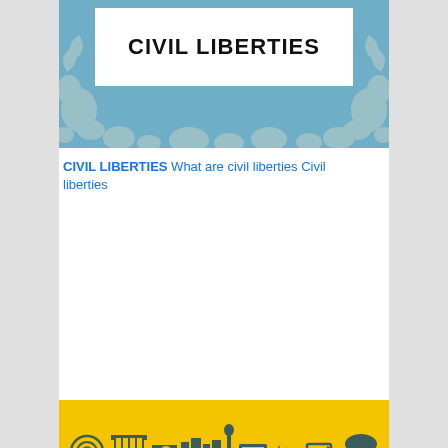[Figure (illustration): Decorative header with blue paisley/leaf pattern background and white box containing 'CIVIL LIBERTIES' text in bold]
CIVIL LIBERTIES
CIVIL LIBERTIES What are civil liberties Civil liberties
[Figure (illustration): Textbook chapter cover image: yellow strip with civic icons (fingerprint, buildings, Statue of Liberty, laptop, Capitol) on a dark blue background with 'Chapter 4' in gold and 'Civil Liberties' in white text]